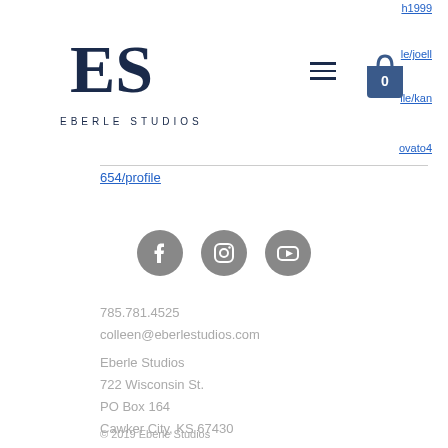[Figure (logo): Eberle Studios logo with stylized ES letters and text EBERLE STUDIOS]
[Figure (illustration): Hamburger menu icon (three horizontal lines) and shopping cart bag icon with 0]
h1999
le/joell
ile/kan
ovato4
654/profile
[Figure (illustration): Three circular social media icons: Facebook (f), Instagram (camera), YouTube (play button), all in grey]
785.781.4525
colleen@eberlestudios.com
Eberle Studios
722 Wisconsin St.
PO Box 164
Cawker City, KS 67430
© 2019 Eberle Studios